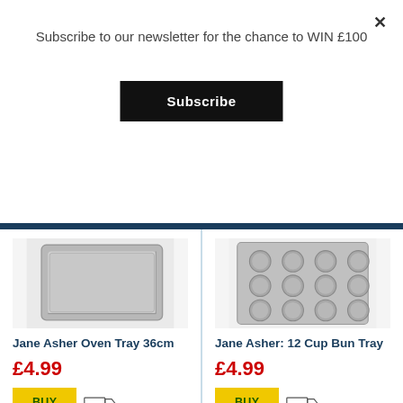Subscribe to our newsletter for the chance to WIN £100
Subscribe
[Figure (photo): Jane Asher Oven Tray 36cm product image - rectangular silver baking tray]
Jane Asher Oven Tray 36cm
£4.99
[Figure (photo): Jane Asher 12 Cup Bun Tray product image - silver muffin/bun tray with 12 circular cups in a grid pattern]
Jane Asher: 12 Cup Bun Tray
£4.99
You might also like…